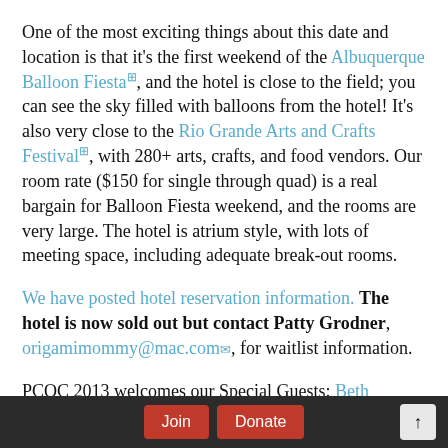One of the most exciting things about this date and location is that it's the first weekend of the Albuquerque Balloon Fiesta, and the hotel is close to the field; you can see the sky filled with balloons from the hotel! It's also very close to the Rio Grande Arts and Crafts Festival, with 280+ arts, crafts, and food vendors. Our room rate ($150 for single through quad) is a real bargain for Balloon Fiesta weekend, and the rooms are very large. The hotel is atrium style, with lots of meeting space, including adequate break-out rooms.
We have posted hotel reservation information. The hotel is now sold out but contact Patty Grodner, origamimommy@mac.com, for waitlist information.
PCOC 2013 welcomes our Special Guests: Beth Johnson, Michael LaFosse and Richard Alexander, Sok Song, Yuri and Katrin Shumakovl.
Join | Donate | ↑